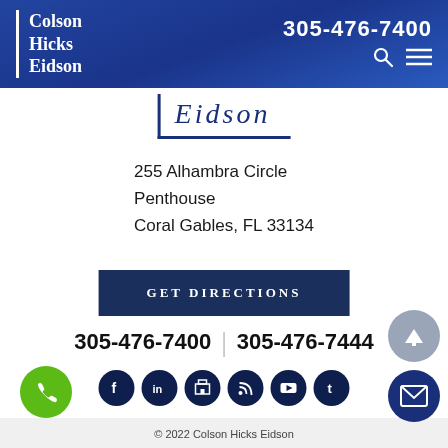Colson Hicks Eidson | 305-476-7400
[Figure (logo): Eidson logo with bracket border]
255 Alhambra Circle
Penthouse
Coral Gables, FL 33134
GET DIRECTIONS
305-476-7400  |  305-476-7444
[Figure (other): Social media icons row: Facebook, LinkedIn, Google+, RSS, YouTube, Tumblr]
© 2022 Colson Hicks Eidson